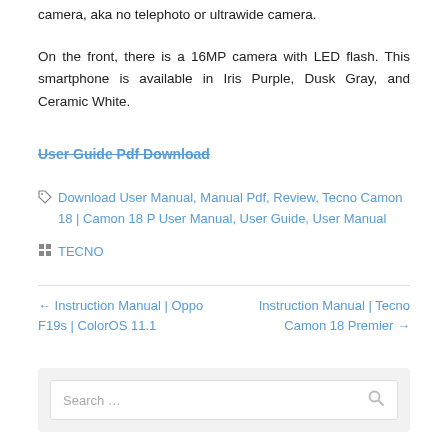camera, aka no telephoto or ultrawide camera.
On the front, there is a 16MP camera with LED flash. This smartphone is available in Iris Purple, Dusk Gray, and Ceramic White.
User Guide Pdf Download
Download User Manual, Manual Pdf, Review, Tecno Camon 18 | Camon 18 P User Manual, User Guide, User Manual
TECNO
← Instruction Manual | Oppo F19s | ColorOS 11.1
Instruction Manual | Tecno Camon 18 Premier →
Search …